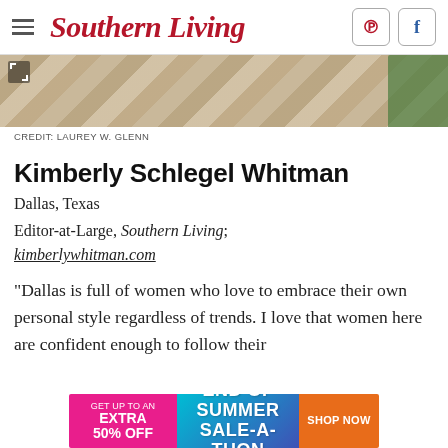Southern Living
[Figure (photo): Stone paving texture with greenery on right side]
CREDIT: LAUREY W. GLENN
Kimberly Schlegel Whitman
Dallas, Texas
Editor-at-Large, Southern Living; kimberlywhitman.com
"Dallas is full of women who love to embrace their own personal style regardless of trends. I love that women here are confident enough to follow their
[Figure (infographic): Advertisement banner: GET UP TO AN EXTRA 50% OFF | END OF SUMMER SALE-A-THON | SHOP NOW]